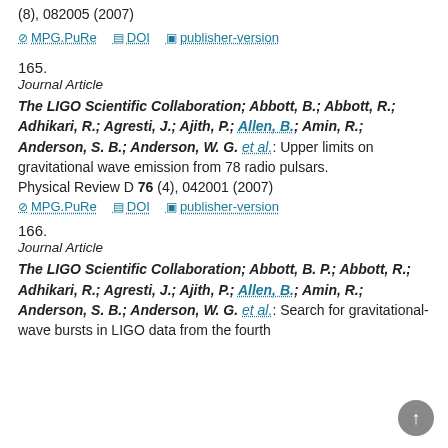(8), 082005 (2007)
MPG.PuRe   DOI   publisher-version
165.
Journal Article
The LIGO Scientific Collaboration; Abbott, B.; Abbott, R.; Adhikari, R.; Agresti, J.; Ajith, P.; Allen, B.; Amin, R.; Anderson, S. B.; Anderson, W. G. et al.: Upper limits on gravitational wave emission from 78 radio pulsars. Physical Review D 76 (4), 042001 (2007)
MPG.PuRe   DOI   publisher-version
166.
Journal Article
The LIGO Scientific Collaboration; Abbott, B. P.; Abbott, R.; Adhikari, R.; Agresti, J.; Ajith, P.; Allen, B.; Amin, R.; Anderson, S. B.; Anderson, W. G. et al.: Search for gravitational-wave bursts in LIGO data from the fourth